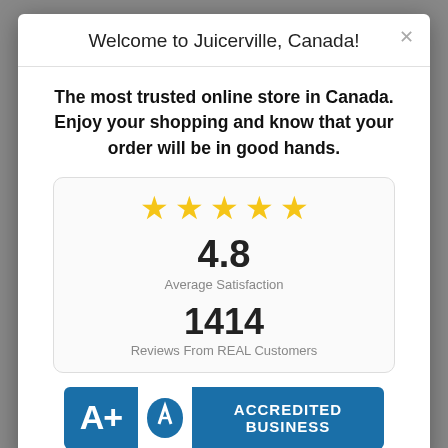Welcome to Juicerville, Canada!
The most trusted online store in Canada. Enjoy your shopping and know that your order will be in good hands.
[Figure (infographic): Rating card with 5 gold stars, 4.8 Average Satisfaction, 1414 Reviews From REAL Customers]
[Figure (logo): BBB A+ Accredited Business badge]